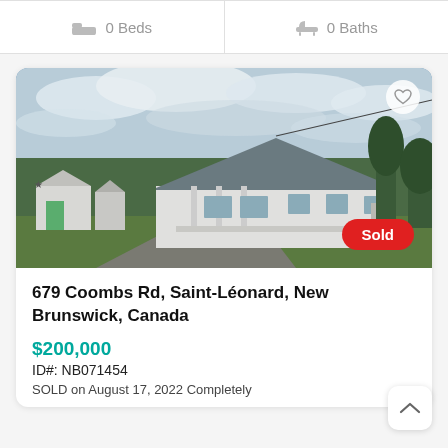0 Beds   0 Baths
[Figure (photo): Exterior photo of a white single-story house with dark roof, front porch with columns, outbuildings to the left, tree line behind, partly cloudy sky. A red 'Sold' badge is overlaid in the lower right.]
679 Coombs Rd, Saint-Léonard, New Brunswick, Canada
$200,000
ID#: NB071454
SOLD on August 17, 2022 Completely